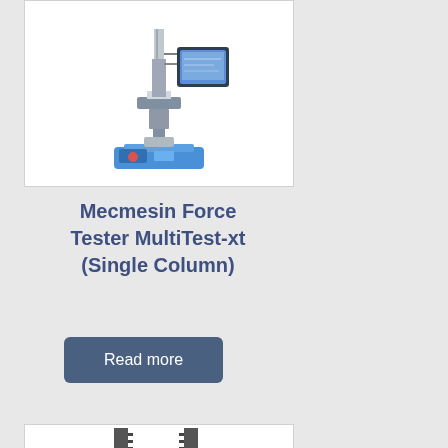[Figure (photo): Mecmesin Force Tester MultiTest-xt (Single Column) instrument photo — a single-column force tester with blue base, vertical column, crosshead, and attached tablet display]
Mecmesin Force Tester MultiTest-xt (Single Column)
Read more
[Figure (photo): Second force tester instrument photo — partial view showing a dual-column frame structure, metal columns with rack teeth, and a crosshead/fixture assembly]